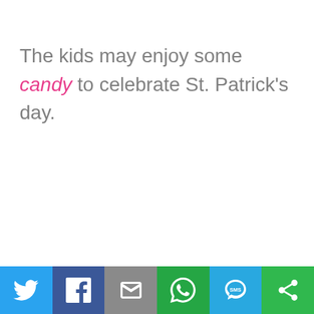The kids may enjoy some candy to celebrate St. Patrick's day.
[Figure (infographic): Social sharing toolbar with six buttons: Twitter (blue), Facebook (dark blue), Email (gray), WhatsApp (green), SMS (light blue), Share/other (green)]